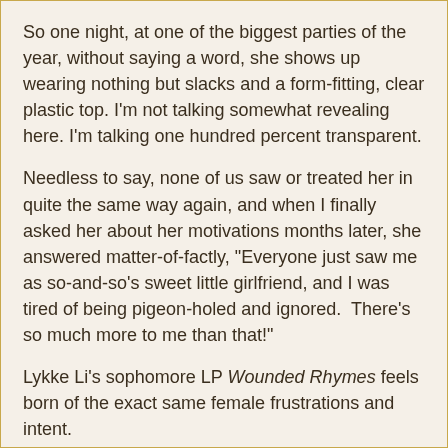So one night, at one of the biggest parties of the year, without saying a word, she shows up wearing nothing but slacks and a form-fitting, clear plastic top. I'm not talking somewhat revealing here. I'm talking one hundred percent transparent.
Needless to say, none of us saw or treated her in quite the same way again, and when I finally asked her about her motivations months later, she answered matter-of-factly, "Everyone just saw me as so-and-so's sweet little girlfriend, and I was tired of being pigeon-holed and ignored.  There's so much more to me than that!"
Lykke Li's sophomore LP Wounded Rhymes feels born of the exact same female frustrations and intent.
Five years back, at the age of nineteen, the precocious young Swede began releasing spare dance-pop singles, finally aggregated in her 2008 full-length debut Youth Novels, that were striking in their emotional intimacy.  Tracks like Little Bit and Dance, Dance, Dance conveyed a sense of